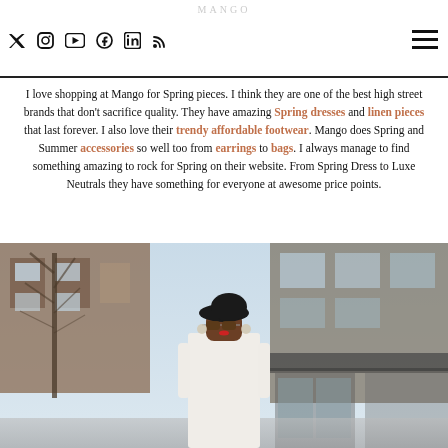MANGO — social icons: Twitter, Instagram, YouTube, Facebook, LinkedIn, RSS; hamburger menu
I love shopping at Mango for Spring pieces. I think they are one of the best high street brands that don't sacrifice quality. They have amazing Spring dresses and linen pieces that last forever. I also love their trendy affordable footwear. Mango does Spring and Summer accessories so well too from earrings to bags. I always manage to find something amazing to rock for Spring on their website. From Spring Dress to Luxe Neutrals they have something for everyone at awesome price points.
[Figure (photo): Street style photo of a woman wearing a black beret, sunglasses, red lipstick, and a white outfit, standing on a city street with brownstone buildings and bare trees in the background.]